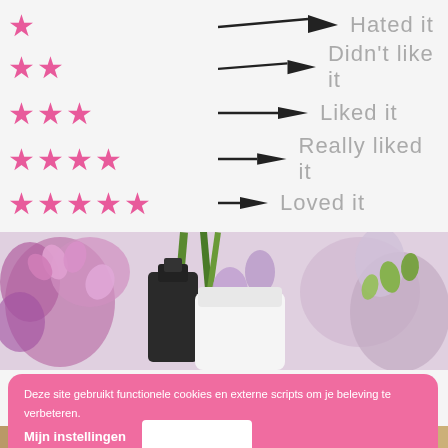★ → Hated it
★★ → Didn't like it
★★★ → Liked it
★★★★ → Really liked it
★★★★★ → Loved it
[Figure (photo): Photo of purple/pink flowers and a dark bottle with white container]
Deze site gebruikt functionele cookies en externe scripts om je beleving te verbeteren.
Mijn instellingen